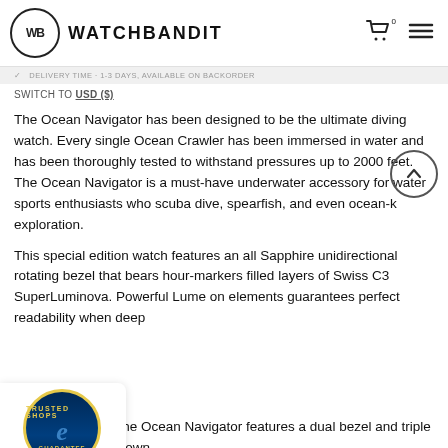WB WATCHBANDIT
DELIVERY TIME · 1-3 DAYS, AVAILABLE ON BACKORDER
SWITCH TO USD ($)
The Ocean Navigator has been designed to be the ultimate diving watch. Every single Ocean Crawler has been immersed in water and has been thoroughly tested to withstand pressures up to 2000 feet. The Ocean Navigator is a must-have underwater accessory for water sports enthusiasts who scuba dive, spearfish, and even ocean-k... exploration.
This special edition watch features an all Sapphire unidirectional rotating bezel that bears hour-markers filled layers of Swiss C3 SuperLuminova. Powerful Lume on elements guarantees perfect readability when deep
[Figure (logo): Trusted Shops guarantee badge with 4.76 star rating]
The Ocean Navigator features a dual bezel and triple crown